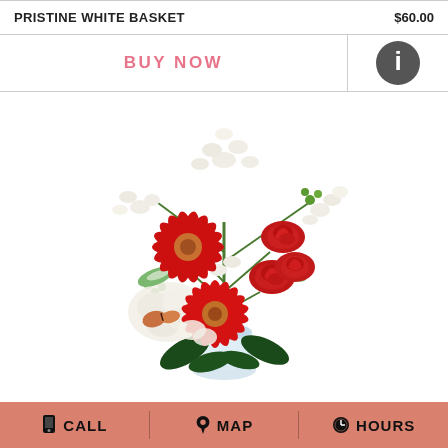| PRISTINE WHITE BASKET | $60.00 |
| BUY NOW | ℹ |
[Figure (photo): A floral arrangement in a clear glass vase featuring red gerbera daisies, red roses, white stock flowers, white hydrangeas, and green foliage.]
CALL  MAP  HOURS